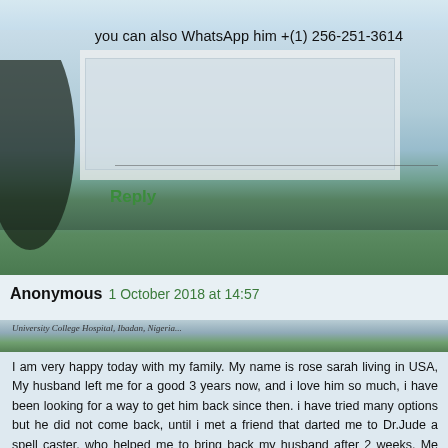you can also WhatsApp him +(1) 256-251-3614
[Figure (photo): Photograph of a large multi-story institutional building (University College Hospital, Ibadan, Nigeria) with trees, green lawn, and blue sky in the background]
Reply
Anonymous   1 October 2018 at 14:57
[Figure (photo): Photograph of University College Hospital, Ibadan, Nigeria with caption text]
I am very happy today with my family. My name is rose sarah living in USA, My husband left me for a good 3 years now, and i love him so much, i have been looking for a way to get him back since then. i have tried many options but he did not come back, until i met a friend that darted me to Dr.Jude a spell caster, who helped me to bring back my husband after 2 weeks. Me and my husband are living happily together today, That man is great, you can contact him via email liberationlovespell@gmail.com... Now i will advice any serious persons that found themselves in this kind of problem to contact him now a fast solution without stoross. He always hello, now i call him my father.contact